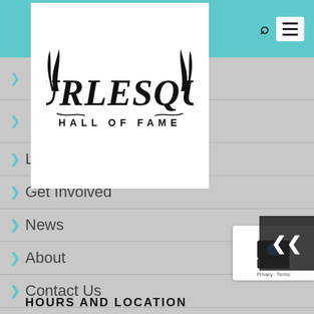[Figure (logo): Burlesque Hall of Fame logo — stylized gothic lettering for BURLESQUE above HALL OF FAME in spaced caps]
Learn
Get Involved
News
About
Contact Us
Press Info
Shop
HOURS AND LOCATION